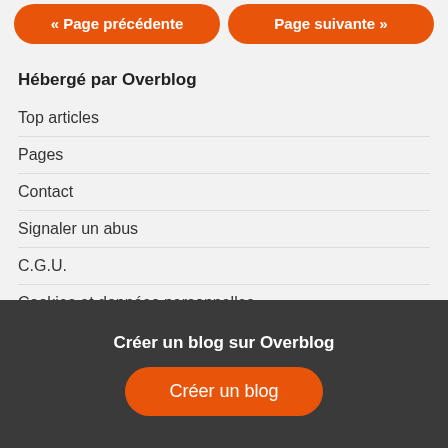« Page précédente   Page suivante »
Hébergé par Overblog
Top articles
Pages
Contact
Signaler un abus
C.G.U.
Cookies et données personnelles
Préférences cookies
Voir le profil de DJ DemonAngel sur le portail Overblog
Créer un blog sur Overblog
Créer un blog